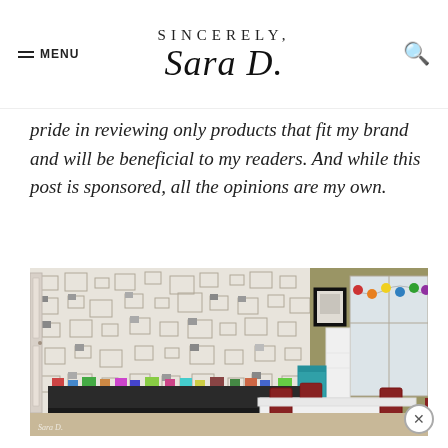SINCERELY, Sara D.
pride in reviewing only products that fit my brand and will be beneficial to my readers. And while this post is sponsored, all the opinions are my own.
[Figure (photo): A children's playroom with a white frame-patterned wallpaper wall, dark toy storage shelves, a white table with dark red chairs, a colorful pom-pom garland near a window, and a framed print on the wall.]